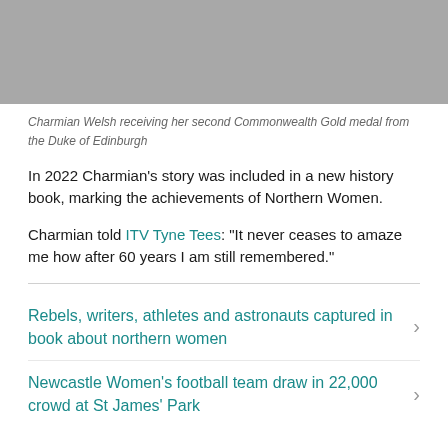[Figure (photo): Gray placeholder image — Charmian Welsh receiving her second Commonwealth Gold medal from the Duke of Edinburgh]
Charmian Welsh receiving her second Commonwealth Gold medal from the Duke of Edinburgh
In 2022 Charmian's story was included in a new history book, marking the achievements of Northern Women.
Charmian told ITV Tyne Tees: "It never ceases to amaze me how after 60 years I am still remembered."
Rebels, writers, athletes and astronauts captured in book about northern women
Newcastle Women's football team draw in 22,000 crowd at St James' Park